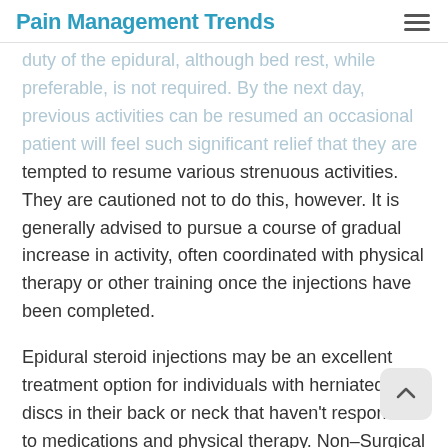Pain Management Trends
duty of the epidural, although bed rest, while preferable, is not required. By the next day, previous activities can be resumed an occasional patient will feel such significant relief that they are tempted to resume various strenuous activities. They are cautioned not to do this, however. It is generally advised to pursue a course of gradual increase in activity, often coordinated with physical therapy or other training once the injections have been completed.
Epidural steroid injections may be an excellent treatment option for individuals with herniated discs in their back or neck that haven't responded to medications and physical therapy. Non-Surgical Orthopaedics, P.C. treats back and neck pain and specializes in cervical, thoracic, and lumbar epidural steroid injections.
Leave a comment
Your email address will not be published. Required fields are marked *
Comment